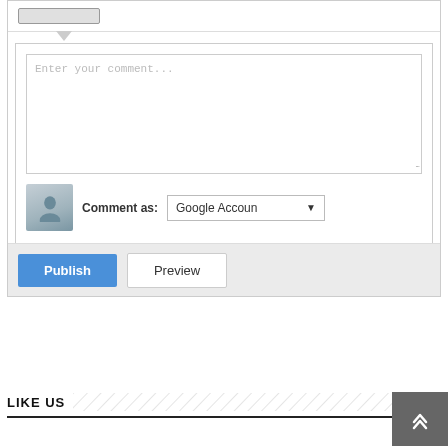[Figure (screenshot): Comment form with textarea showing placeholder 'Enter your comment...', a user avatar, 'Comment as: Google Account' dropdown, and Publish/Preview buttons]
LIKE US